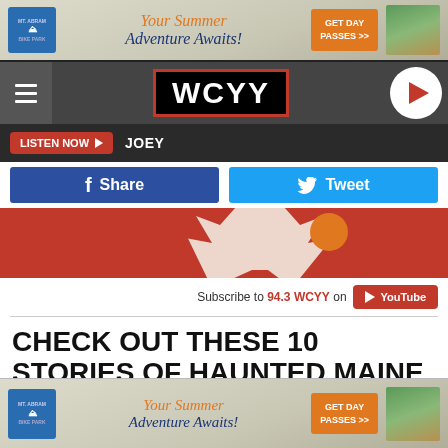[Figure (illustration): Mt. Abram Bike Park advertisement banner: 'Your Summer Adventure Awaits!' with GET DAY PASSES >> button in orange]
[Figure (logo): WCYY radio station navigation bar with hamburger menu, WCYY logo in black box with red border, and red play button circle]
LISTEN NOW ▶  JOEY
[Figure (screenshot): Facebook Share button (blue) and Twitter Tweet button (light blue) social sharing row]
[Figure (photo): Red banner image with white ghost/spirit shape and orange element on red burlap-textured background]
Subscribe to 94.3 WCYY on YouTube
CHECK OUT THESE 10 STORIES OF HAUNTED MAINE
[Figure (illustration): Mt. Abram Bike Park advertisement banner (bottom): 'Your Summer Adventure Awaits!' with GET DAY PASSES >> button in orange]